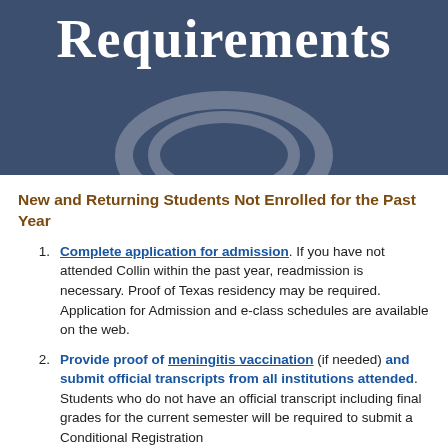Requirements
New and Returning Students Not Enrolled for the Past Year
Complete application for admission. If you have not attended Collin within the past year, readmission is necessary. Proof of Texas residency may be required. Application for Admission and e-class schedules are available on the web.
Provide proof of meningitis vaccination (if needed) and submit official transcripts from all institutions attended. Students who do not have an official transcript including final grades for the current semester will be required to submit a Conditional Registration